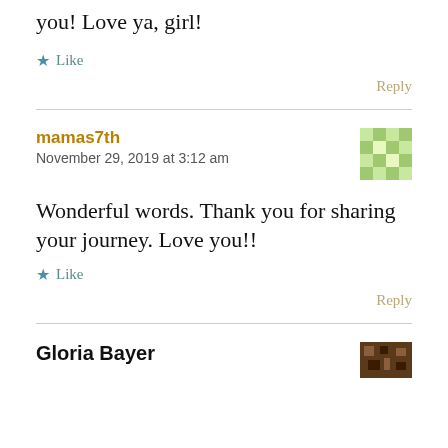you! Love ya, girl!
★ Like
Reply
mamas7th
November 29, 2019 at 3:12 am
Wonderful words. Thank you for sharing your journey. Love you!!
★ Like
Reply
Gloria Bayer